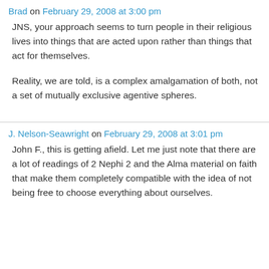Brad on February 29, 2008 at 3:00 pm
JNS, your approach seems to turn people in their religious lives into things that are acted upon rather than things that act for themselves.
Reality, we are told, is a complex amalgamation of both, not a set of mutually exclusive agentive spheres.
J. Nelson-Seawright on February 29, 2008 at 3:01 pm
John F., this is getting afield. Let me just note that there are a lot of readings of 2 Nephi 2 and the Alma material on faith that make them completely compatible with the idea of not being free to choose everything about ourselves.